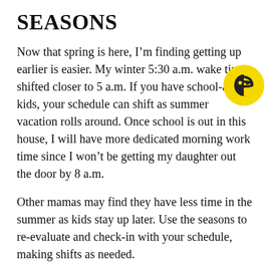SEASONS
Now that spring is here, I'm finding getting up earlier is easier. My winter 5:30 a.m. wake time shifted closer to 5 a.m. If you have school-aged kids, your schedule can shift as summer vacation rolls around. Once school is out in this house, I will have more dedicated morning work time since I won't be getting my daughter out the door by 8 a.m.
Other mamas may find they have less time in the summer as kids stay up later. Use the seasons to re-evaluate and check-in with your schedule, making shifts as needed.